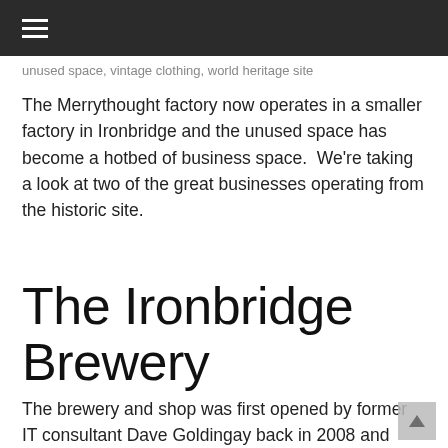≡
unused space, vintage clothing, world heritage site
The Merrythought factory now operates in a smaller factory in Ironbridge and the unused space has become a hotbed of business space.  We're taking a look at two of the great businesses operating from the historic site.
The Ironbridge Brewery
The brewery and shop was first opened by former IT consultant Dave Goldingay back in 2008 and prides itself on being 'brewers of fine real ales set in the heart of the World Heritage Site of Ironbridge in